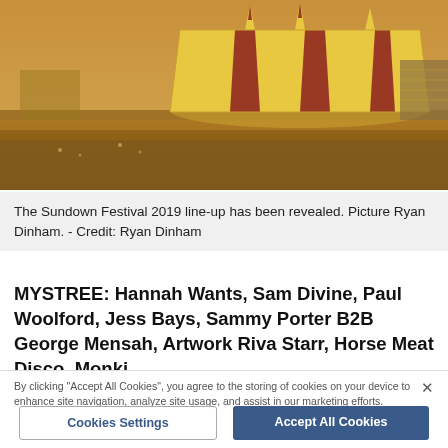[Figure (photo): Aerial view of a festival crowd with a large yellow and red striped circus-style tent in the background, warm golden lighting]
The Sundown Festival 2019 line-up has been revealed. Picture Ryan Dinham. - Credit: Ryan Dinham
MYSTREE: Hannah Wants, Sam Divine, Paul Woolford, Jess Bays, Sammy Porter B2B George Mensah, Artwork Riva Starr, Horse Meat Disco, Monki
By clicking "Accept All Cookies", you agree to the storing of cookies on your device to enhance site navigation, analyze site usage, and assist in our marketing efforts.
Cookies Settings
Accept All Cookies